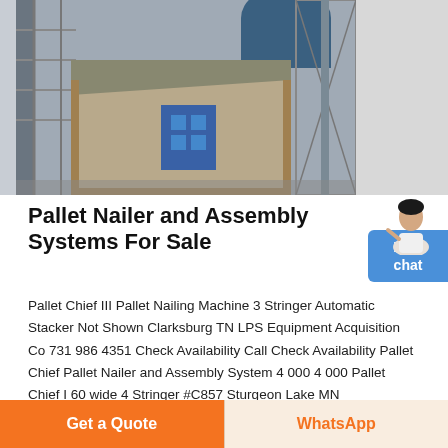[Figure (photo): Industrial facility with a wooden-framed shed/enclosure structure, scaffolding and stairs on left, large industrial equipment in background including blue machinery and a large cylindrical vessel/tank at top.]
Pallet Nailer and Assembly Systems For Sale
Pallet Chief III Pallet Nailing Machine 3 Stringer Automatic Stacker Not Shown Clarksburg TN LPS Equipment Acquisition Co 731 986 4351 Check Availability Call Check Availability Pallet Chief Pallet Nailer and Assembly System 4 000 4 000 Pallet Chief I 60 wide 4 Stringer #C857 Sturgeon Lake MN